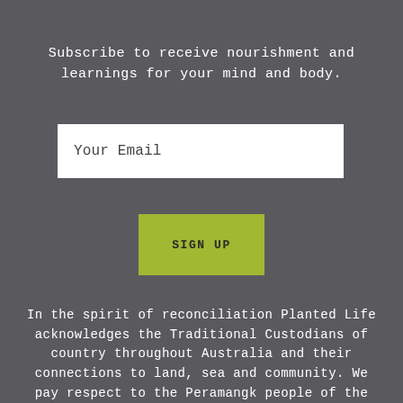Subscribe to receive nourishment and learnings for your mind and body.
Your Email
SIGN UP
In the spirit of reconciliation Planted Life acknowledges the Traditional Custodians of country throughout Australia and their connections to land, sea and community. We pay respect to the Peramangk people of the Adelaide Hills, the traditional custodians of the land where we live, work and tread lightly. We continue to pay our respects to Elders,